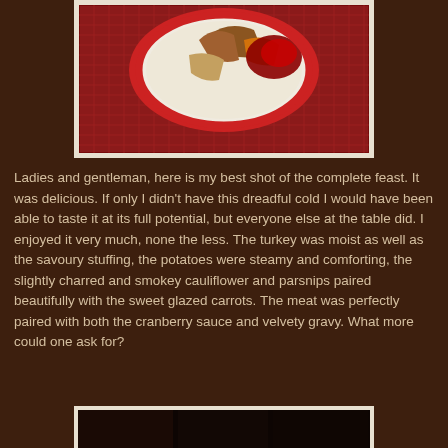[Figure (photo): A Christmas/holiday plate with turkey, cranberry sauce and stuffing on a decorative red and white plate, placed on a red woven charger or placemat. The plate has Christmas motifs around the rim.]
Ladies and gentleman, here is my best shot of the complete feast. It was delicious. If only I didn't have this dreadful cold I would have been able to taste it at its full potential, but everyone else at the table did. I enjoyed it very much, none the less. The turkey was moist as well as the savoury stuffing, the potatoes were steamy and comforting, the slightly charred and smokey cauliflower and parsnips paired beautifully with the sweet glazed carrots. The meat was perfectly paired with both the cranberry sauce and velvety gravy. What more could one ask for?
[Figure (photo): Partial view of another food photo at the bottom of the page, mostly dark.]